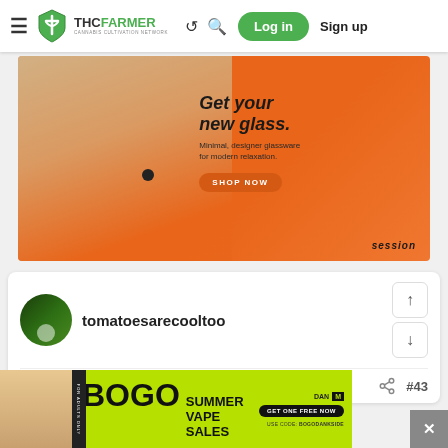THCFarmer - Cannabis Cultivation Network navigation bar with Log in and Sign up
[Figure (photo): Orange advertisement banner for 'session' glassware brand. Text reads: 'Get your new glass. Minimal, designer glassware for modern relaxation.' with a 'SHOP NOW' button. Shows a hand holding a glass pipe on orange background.]
tomatoesarecooltoo
Aug 19, 2020  #43
[Figure (photo): BOGO Summer Vape Sales advertisement banner in yellow-green with a person smiling, promoting buy-one-get-one free deal with code BOGODANKSIDE]